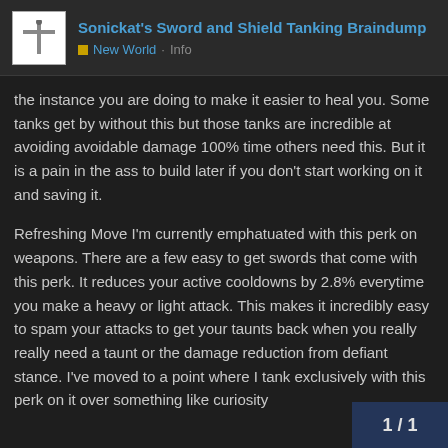Sonickat's Sword and Shield Tanking Braindump | New World · Info
the instance you are doing to make it easier to heal you. Some tanks get by without this but those tanks are incredible at avoiding avoidable damage 100% time others need this. But it is a pain in the ass to build later if you don't start working on it and saving it.
Refreshing Move I'm currently emphatuated with this perk on weapons. There are a few easy to get swords that come with this perk. It reduces your active cooldowns by 2.8% everytime you make a heavy or light attack. This makes it incredibly easy to spam your attacks to get your taunts back when you really really need a taunt or the damage reduction from defiant stance. I've moved to a point where I tank exclusively with this perk on it over something like curiosity
1 / 1